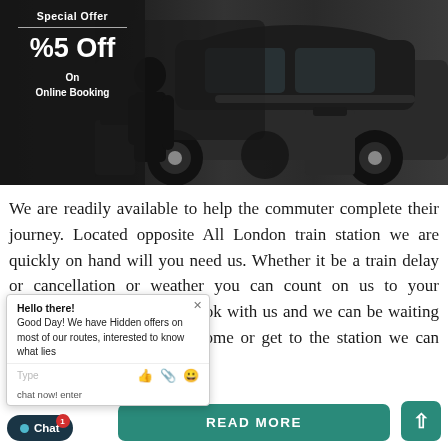[Figure (photo): Promotional banner showing a chauffeur standing next to luxury black cars, with overlay text showing Special Offer, %5 Off, On Online Booking]
We are readily available to help the commuter complete their journey. Located opposite All London train station we are quickly on hand will you need us. Whether it be a train delay or cancellation or weather you can count on us to your destination or back home. book with us and we can be waiting at the station to pick you home or get to the station we can home
[Figure (screenshot): Live chat popup overlay with message: Hello there! Good Day! We have Hidden offers on most of our routes, interested to know what lies ahead, chat now! enter]
READ MORE